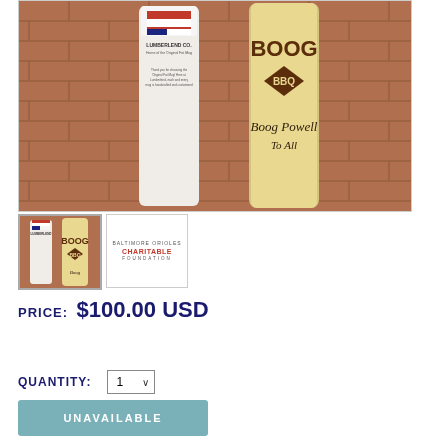[Figure (photo): Photo of two cylindrical mugs/cups on brick surface. Left one is white with American flag and 'LUMBERLEND CO.' text. Right one is tan/yellow with 'BOOG BBQ' branding and a signature.]
[Figure (photo): Thumbnail of both mugs side by side]
[Figure (logo): Baltimore Orioles Charitable Foundation logo with text in gray and red]
PRICE: $100.00 USD
QUANTITY: 1
UNAVAILABLE